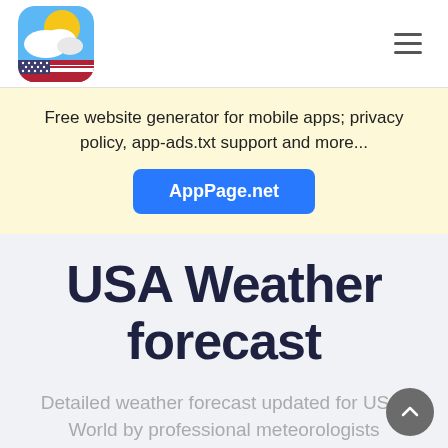[Figure (logo): Weather app icon showing sun partially behind clouds with a US flag overlay, rounded rectangle shape]
≡
Free website generator for mobile apps; privacy policy, app-ads.txt support and more...
AppPage.net
USA Weather forecast
Detailed weather forecast updated for US & World by professional meteorologists